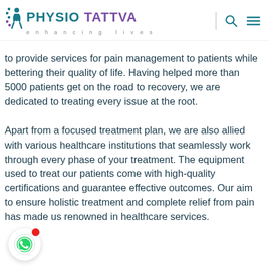PHYSIO TATTVA enhancing lives
to provide services for pain management to patients while bettering their quality of life. Having helped more than 5000 patients get on the road to recovery, we are dedicated to treating every issue at the root.
Apart from a focused treatment plan, we are also allied with various healthcare institutions that seamlessly work through every phase of your treatment. The equipment used to treat our patients come with high-quality certifications and guarantee effective outcomes. Our aim to ensure holistic treatment and complete relief from pain has made us renowned in healthcare services.
[Figure (logo): WhatsApp chat button with red notification dot]